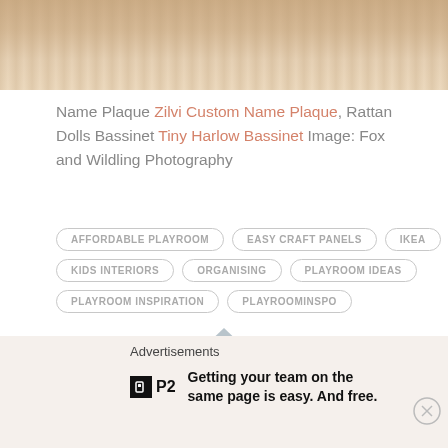[Figure (photo): Top portion of a photo showing a wooden surface with rattan/woven texture, cropped at top of page]
Name Plaque Zilvi Custom Name Plaque, Rattan Dolls Bassinet Tiny Harlow Bassinet Image: Fox and Wildling Photography
AFFORDABLE PLAYROOM
EASY CRAFT PANELS
IKEA
KIDS INTERIORS
ORGANISING
PLAYROOM IDEAS
PLAYROOM INSPIRATION
PLAYROOMINSPO
[Figure (other): Arrow shape icon pointing right, partially visible]
Advertisements
[Figure (logo): P2 logo - black square with P icon followed by P2 text]
Getting your team on the same page is easy. And free.